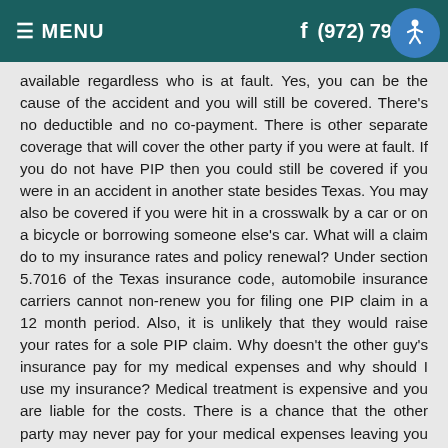≡ MENU   f   (972) 797-[...]4
available regardless who is at fault. Yes, you can be the cause of the accident and you will still be covered. There's no deductible and no co-payment. There is other separate coverage that will cover the other party if you were at fault. If you do not have PIP then you could still be covered if you were in an accident in another state besides Texas. You may also be covered if you were hit in a crosswalk by a car or on a bicycle or borrowing someone else's car. What will a claim do to my insurance rates and policy renewal? Under section 5.7016 of the Texas insurance code, automobile insurance carriers cannot non-renew you for filing one PIP claim in a 12 month period. Also, it is unlikely that they would raise your rates for a sole PIP claim. Why doesn't the other guy's insurance pay for my medical expenses and why should I use my insurance? Medical treatment is expensive and you are liable for the costs. There is a chance that the other party may never pay for your medical expenses leaving you a financial burden. PIP gives you peace of mind that your medical bills are covered. If you use your health insurance, you may have to pay a deductible and co-pays to your doctor and if the health insurance finds out that you were in an accident they could request to be reimbursed. Some people get referred to a medical provider by their attorney and the medical provider agrees to be paid months or even years later